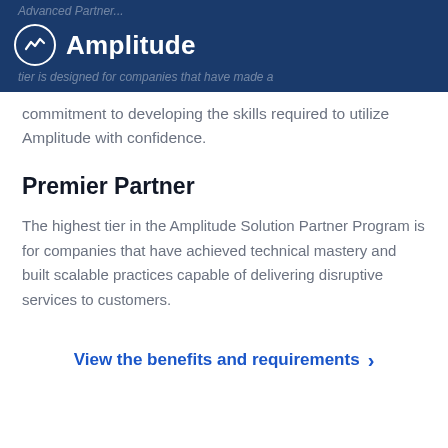Amplitude
tier is designed for companies that have made a commitment to developing the skills required to utilize Amplitude with confidence.
Premier Partner
The highest tier in the Amplitude Solution Partner Program is for companies that have achieved technical mastery and built scalable practices capable of delivering disruptive services to customers.
View the benefits and requirements >